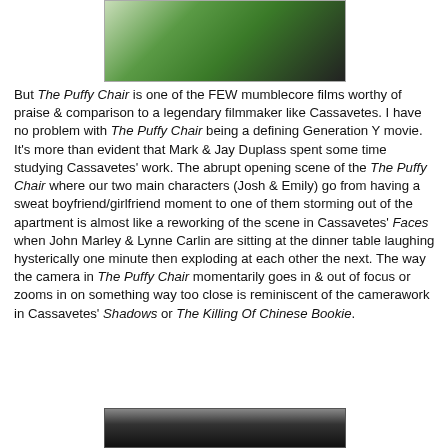[Figure (photo): Partial photo of a person in green shirt looking at something out of a car window, holding paper]
But The Puffy Chair is one of the FEW mumblecore films worthy of praise & comparison to a legendary filmmaker like Cassavetes. I have no problem with The Puffy Chair being a defining Generation Y movie. It's more than evident that Mark & Jay Duplass spent some time studying Cassavetes' work. The abrupt opening scene of the The Puffy Chair where our two main characters (Josh & Emily) go from having a sweat boyfriend/girlfriend moment to one of them storming out of the apartment is almost like a reworking of the scene in Cassavetes' Faces when John Marley & Lynne Carlin are sitting at the dinner table laughing hysterically one minute then exploding at each other the next. The way the camera in The Puffy Chair momentarily goes in & out of focus or zooms in on something way too close is reminiscent of the camerawork in Cassavetes' Shadows or The Killing Of Chinese Bookie.
[Figure (photo): Partial photo of a person, black and white, cropped at bottom of page]